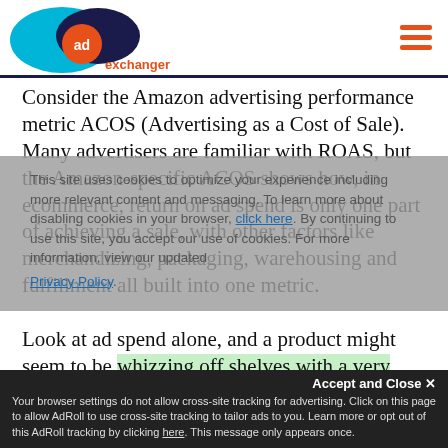[Figure (logo): AdExchanger logo: cyan oval, dark navy oval overlapping, orange circle with 'ad' text, 'exchanger' in orange text below]
Consider the Amazon advertising performance metric ACOS (Advertising as a Cost of Sale). Many advertisers are familiar with ROAS, but the Amazon-specific ACOS shows how, in ecommerce, return on ad spend is only one part of achieving a sale, with other factors like merchandizing, packaging, warehousing and fulfillment all built into one metric.
This site uses cookies to optimize your experience including more relevant content and messaging. To learn more about disabling cookies in your browser, click here. By continuing to use this site, you accept our use of cookies. For more information, view our updated Privacy Policy.
Look at ad spend alone, and a product might seem to be whizzing off shelves with a very high return on spend. But if you consider what it costs to sell a particular item, that
Your browser settings do not allow cross-site tracking for advertising. Click on this page to allow AdRoll to use cross-site tracking to tailor ads to you. Learn more or opt out of this AdRoll tracking by clicking here. This message only appears once.